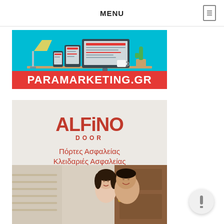MENU
[Figure (illustration): Paramarketing.gr banner with teal background showing a desktop monitor, tablet, and phone with a cactus plant decoration and the text PARAMARKETING.GR in white on a red bar]
[Figure (illustration): Alfino Door advertisement with grey background showing the Alfino Door logo in red, text in Greek: Πόρτες Ασφαλείας, Κλειδαριές Ασφαλείας, and a photo of a smiling couple next to a wooden door]